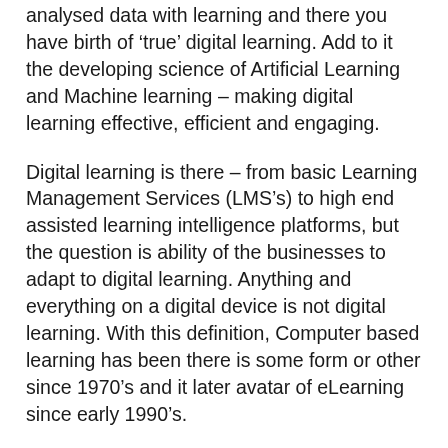analysed data with learning and there you have birth of 'true' digital learning. Add to it the developing science of Artificial Learning and Machine learning – making digital learning effective, efficient and engaging.
Digital learning is there – from basic Learning Management Services (LMS's) to high end assisted learning intelligence platforms, but the question is ability of the businesses to adapt to digital learning. Anything and everything on a digital device is not digital learning. With this definition, Computer based learning has been there is some form or other since 1970's and it later avatar of eLearning since early 1990's.
I would like to share some facts which came up